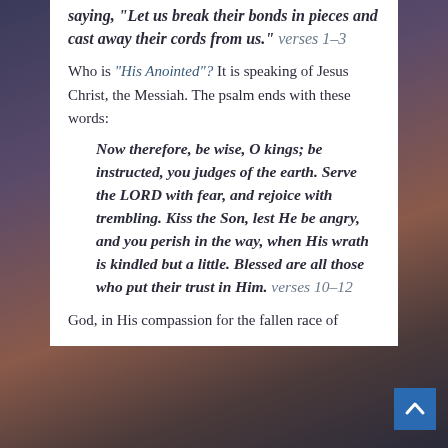saying, "Let us break their bonds in pieces and cast away their cords from us." verses 1-3
Who is "His Anointed"? It is speaking of Jesus Christ, the Messiah. The psalm ends with these words:
Now therefore, be wise, O kings; be instructed, you judges of the earth. Serve the LORD with fear, and rejoice with trembling. Kiss the Son, lest He be angry, and you perish in the way, when His wrath is kindled but a little. Blessed are all those who put their trust in Him. verses 10-12
God, in His compassion for the fallen race of